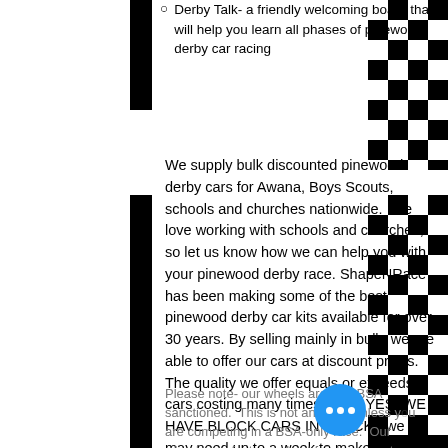Derby Talk- a friendly welcoming board that will help you learn all phases of pinewood derby car racing
We supply bulk discounted pinewood derby cars for Awana, Boys Scouts, schools and churches nationwide.  We love working with schools and churches, so let us know how we can help you with your pinewood derby race. ShapeNRace has been making some of the best pinewood derby car kits available for over 30 years. By selling mainly in bulk, we are able to offer our cars at discount prices. The quality we offer equals or exceeds cars costing many times more. YES, WE HAVE BLOCK CARS IN STOCK - we may need up to a week to make your wedges/shaped cars.
Please note- our wheels are non-BSA sanctioned.  This is not an issue unless you are competing in a BSA-only race.  Our wheels are faster and not fair to compete against the slower